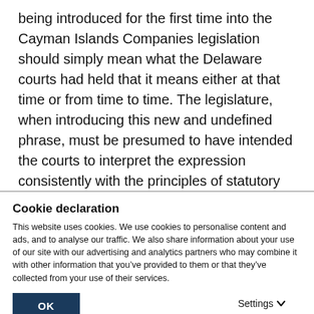being introduced for the first time into the Cayman Islands Companies legislation should simply mean what the Delaware courts had held that it means either at that time or from time to time. The legislature, when introducing this new and undefined phrase, must be presumed to have intended the courts to interpret the expression consistently with the principles of statutory interpretation, but otherwise free from the constraints of jurisprudence on different valuation standards or of
Cookie declaration
This website uses cookies. We use cookies to personalise content and ads, and to analyse our traffic. We also share information about your use of our site with our advertising and analytics partners who may combine it with other information that you've provided to them or that they've collected from your use of their services.